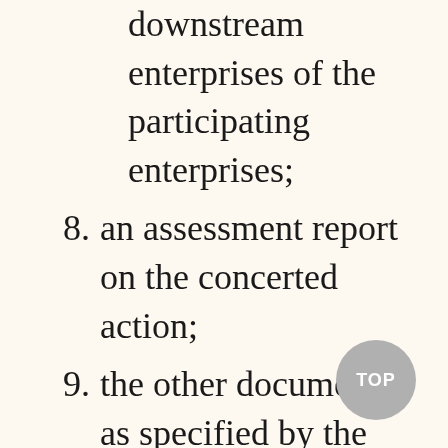downstream enterprises of the participating enterprises;
8. an assessment report on the concerted action;
9. the other documents as specified by the competent authority.
The form of the application